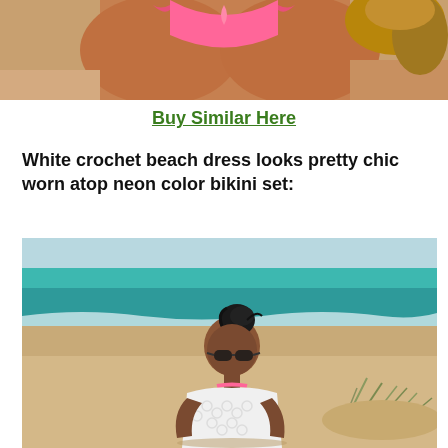[Figure (photo): Close-up photo of a person wearing a pink/coral bikini bottom, sitting on sand at a beach, curly hair visible]
Buy Similar Here
White crochet beach dress looks pretty chic worn atop neon color bikini set:
[Figure (photo): Woman with dark hair in a bun wearing sunglasses and a white crochet beach cover-up with pink bikini underneath, leaning forward on a sandy beach with turquoise ocean water in the background]